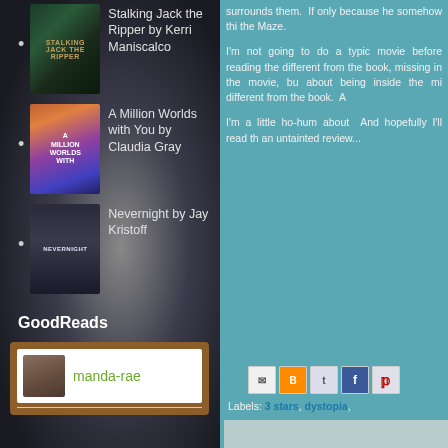Stalking Jack the Ripper by Kerri Maniscalco
A Million Worlds with You by Claudia Gray
Nevernight by Jay Kristoff
GoodReads
manda-rae
surrounds them.  If only because he somehow thi the Maze.
I'm not going to do a typic movie before reading the different from the book, missing in the movie, bu about being inside the mi different from the book.  A
I'm a little ho-hum about  And hopefully I'll read th an untainted review...
Labels: 3 stars, dystopia,